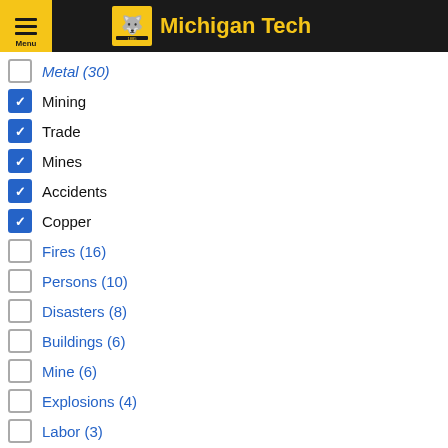Michigan Tech
Metal (30)
Mining
Trade
Mines
Accidents
Copper
Fires (16)
Persons (10)
Disasters (8)
Buildings (6)
Mine (6)
Explosions (4)
Labor (3)
Manpower (3)
Miners (2)
Seasons (1)
Winter (1)